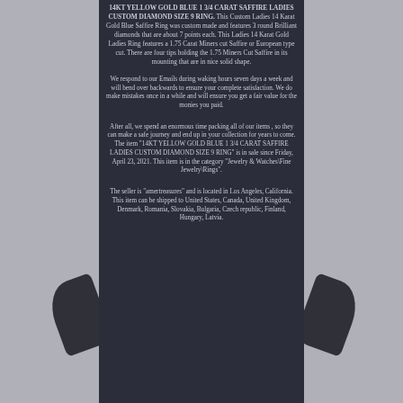14KT YELLOW GOLD BLUE 1 3/4 CARAT SAFFIRE LADIES CUSTOM DIAMOND SIZE 9 RING.
This Custom Ladies 14 Karat Gold Blue Saffire Ring was custom made and features 3 round Brilliant diamonds that are about 7 points each. This Ladies 14 Karat Gold Ladies Ring features a 1.75 Carat Miners cut Saffire or European type cut. There are four tips holding the 1.75 Miners Cut Saffire in its mounting that are in nice solid shape.
We respond to our Emails during waking hours seven days a week and will bend over backwards to ensure your complete satisfaction. We do make mistakes once in a while and will ensure you get a fair value for the monies you paid.
After all, we spend an enormous time packing all of our items , so they can make a safe journey and end up in your collection for years to come. The item "14KT YELLOW GOLD BLUE 1 3/4 CARAT SAFFIRE LADIES CUSTOM DIAMOND SIZE 9 RING" is in sale since Friday, April 23, 2021. This item is in the category "Jewelry & Watches\Fine Jewelry\Rings".
The seller is "amertreasures" and is located in Los Angeles, California. This item can be shipped to United States, Canada, United Kingdom, Denmark, Romania, Slovakia, Bulgaria, Czech republic, Finland, Hungary, Latvia.